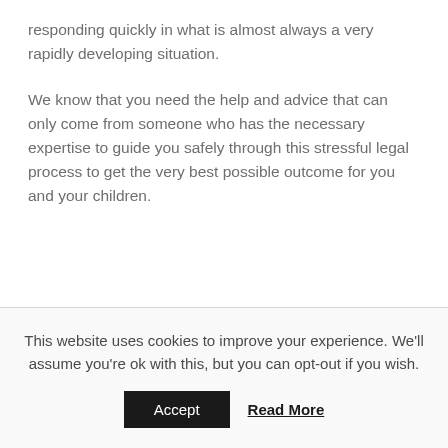responding quickly in what is almost always a very rapidly developing situation.
We know that you need the help and advice that can only come from someone who has the necessary expertise to guide you safely through this stressful legal process to get the very best possible outcome for you and your children.
This website uses cookies to improve your experience. We'll assume you're ok with this, but you can opt-out if you wish.